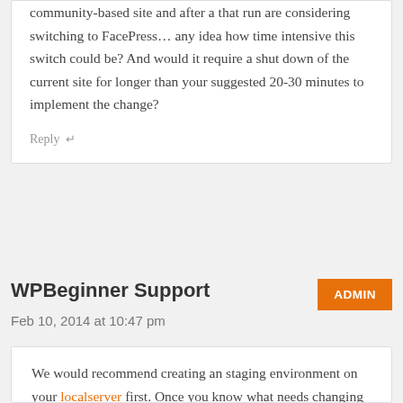community-based site and after a that run are considering switching to FacePress… any idea how time intensive this switch could be? And would it require a shut down of the current site for longer than your suggested 20-30 minutes to implement the change?
Reply ↵
WPBeginner Support
ADMIN
Feb 10, 2014 at 10:47 pm
We would recommend creating an staging environment on your localserver first. Once you know what needs changing you can export those settings (Depends if the